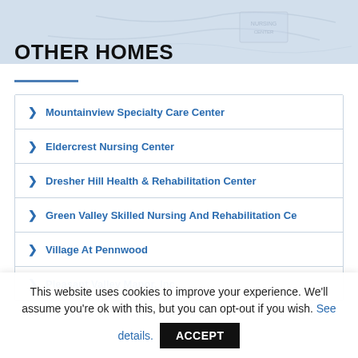[Figure (photo): Faded background image of a map or document, light blue-grey tones]
OTHER HOMES
Mountainview Specialty Care Center
Eldercrest Nursing Center
Dresher Hill Health & Rehabilitation Center
Green Valley Skilled Nursing And Rehabilitation Ce
Village At Pennwood
Pleasant Valley Manor, Inc
This website uses cookies to improve your experience. We'll assume you're ok with this, but you can opt-out if you wish. See details.